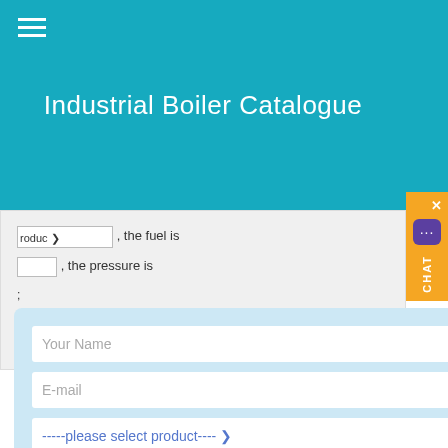Industrial Boiler Catalogue
[Figure (screenshot): Contact/inquiry popup form with fields: Your Name, E-mail, please select product dropdown, capacity, More information button, and Submit button, overlaying a background form. Orange chat widget on right side.]
biomass wood pellet burner on sale
Jenny Wu  2015-09-16  No Comments